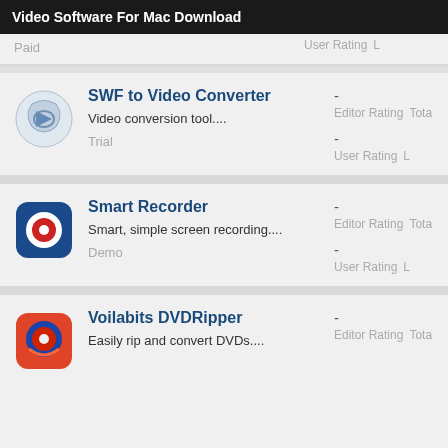Video Software For Mac Download
Paid
User Rating
L
SWF to Video Converter
Video conversion tool....
Trial
- Editor Rating  Tota
- User Rating  L
Smart Recorder
Smart, simple screen recording....
Demo
- Editor Rating  Tota
- User Rating  L
Voilabits DVDRipper
Easily rip and convert DVDs....
Trial
- Editor Rating  Tota